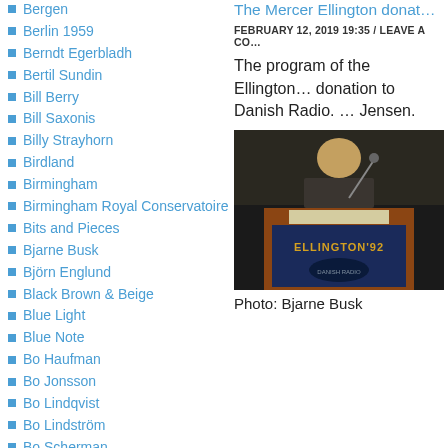Bergen
Berlin 1959
Berndt Egerbladh
Bertil Sundin
Bill Berry
Bill Saxonis
Billy Strayhorn
Birdland
Birmingham
Birmingham Royal Conservatoire
Bits and Pieces
Bjarne Busk
Björn Englund
Black Brown & Beige
Blue Light
Blue Note
Bo Haufman
Bo Jonsson
Bo Lindqvist
Bo Lindström
Bo Scherman
Bo Tigrén
Bob Reny
Bob Udkoff
The Mercer Ellington donat...
FEBRUARY 12, 2019 19:35 / LEAVE A CO...
The program of the Ellington... donation to Danish Radio. ... Jensen.
[Figure (photo): Person speaking at a podium with an Ellington '92 sign, photographed in a dark setting.]
Photo: Bjarne Busk